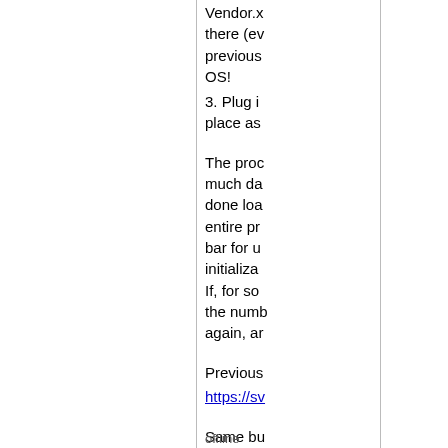Vendor.x there (ev previous OS!
3. Plug i place as
The proc much da done loa entire pr bar for u initializa If, for so the numb again, ar
Previous https://sv
Same bu the drop
fere liber